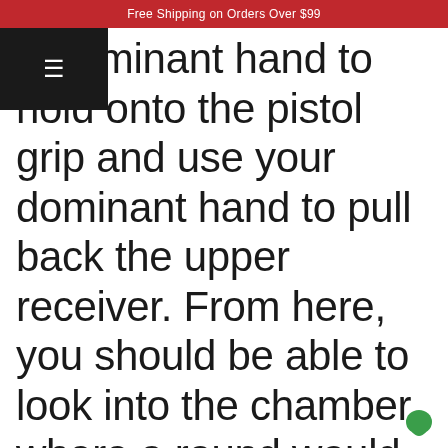Free Shipping on Orders Over $99
n-dominant hand to hold onto the pistol grip and use your dominant hand to pull back the upper receiver. From here, you should be able to look into the chamber where a round would be stationed if it were ready to fire. Inspect the